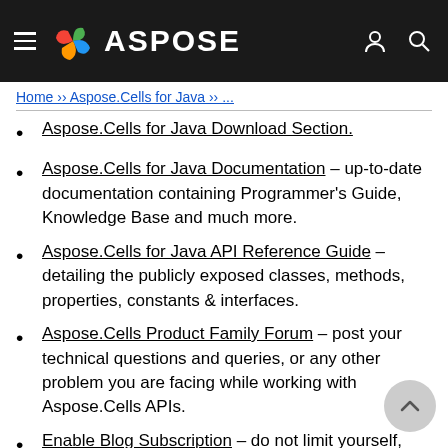ASPOSE
Home ›› Aspose.Cells for Java ›› ...
Aspose.Cells for Java Download Section.
Aspose.Cells for Java Documentation – up-to-date documentation containing Programmer's Guide, Knowledge Base and much more.
Aspose.Cells for Java API Reference Guide – detailing the publicly exposed classes, methods, properties, constants & interfaces.
Aspose.Cells Product Family Forum – post your technical questions and queries, or any other problem you are facing while working with Aspose.Cells APIs.
Enable Blog Subscription – do not limit yourself,